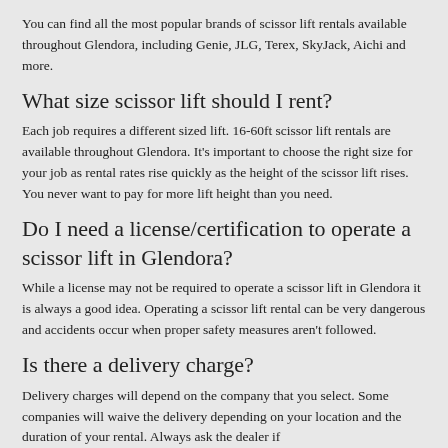You can find all the most popular brands of scissor lift rentals available throughout Glendora, including Genie, JLG, Terex, SkyJack, Aichi and more.
What size scissor lift should I rent?
Each job requires a different sized lift. 16-60ft scissor lift rentals are available throughout Glendora. It's important to choose the right size for your job as rental rates rise quickly as the height of the scissor lift rises. You never want to pay for more lift height than you need.
Do I need a license/certification to operate a scissor lift in Glendora?
While a license may not be required to operate a scissor lift in Glendora it is always a good idea. Operating a scissor lift rental can be very dangerous and accidents occur when proper safety measures aren't followed.
Is there a delivery charge?
Delivery charges will depend on the company that you select. Some companies will waive the delivery depending on your location and the duration of your rental. Always ask the dealer if